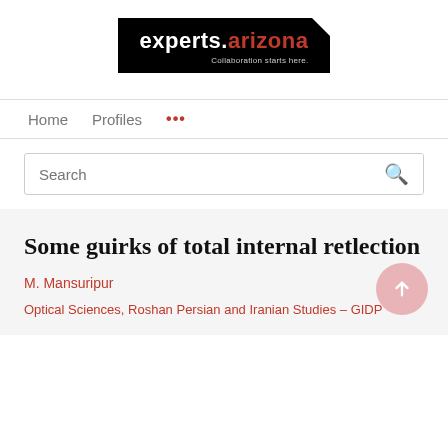[Figure (logo): experts.arizona logo — black background with white text 'experts.' and red text 'arizona', tagline 'Collaboration starts here.' in light grey]
Home   Profiles   ...
Search
Some guirks of total internal retlection
M. Mansuripur
Optical Sciences, Roshan Persian and Iranian Studies - GIDP